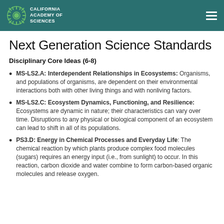California Academy of Sciences
Next Generation Science Standards
Disciplinary Core Ideas (6-8)
MS-LS2.A: Interdependent Relationships in Ecosystems: Organisms, and populations of organisms, are dependent on their environmental interactions both with other living things and with nonliving factors.
MS-LS2.C: Ecosystem Dynamics, Functioning, and Resilience: Ecosystems are dynamic in nature; their characteristics can vary over time. Disruptions to any physical or biological component of an ecosystem can lead to shift in all of its populations.
PS3.D: Energy in Chemical Processes and Everyday Life: The chemical reaction by which plants produce complex food molecules (sugars) requires an energy input (i.e., from sunlight) to occur. In this reaction, carbon dioxide and water combine to form carbon-based organic molecules and release oxygen.